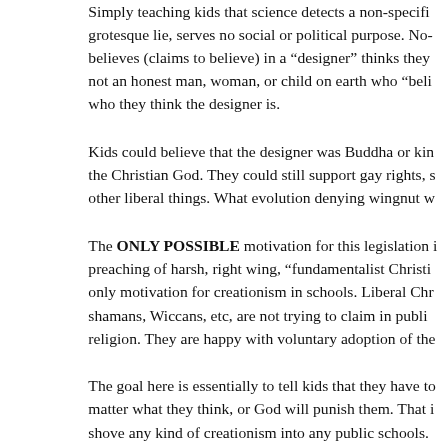Simply teaching kids that science detects a non-specific grotesque lie, serves no social or political purpose. No- believes (claims to believe) in a “designer” thinks they not an honest man, woman, or child on earth who “beli who they think the designer is.
Kids could believe that the designer was Buddha or kin the Christian God. They could still support gay rights, s other liberal things. What evolution denying wingnut w
The ONLY POSSIBLE motivation for this legislation i preaching of harsh, right wing, “fundamentalist Christi only motivation for creationism in schools. Liberal Chr shamans, Wiccans, etc, are not trying to claim in publi religion. They are happy with voluntary adoption of the
The goal here is essentially to tell kids that they have to matter what they think, or God will punish them. That i shove any kind of creationism into any public schools.